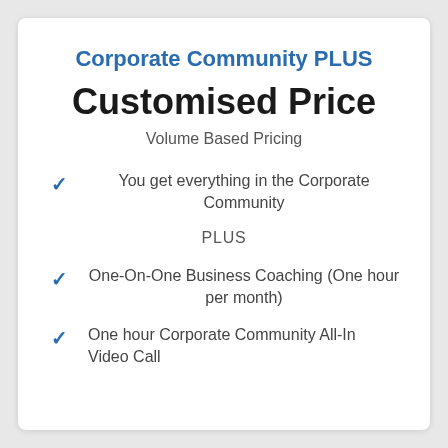Corporate Community PLUS
Customised Price
Volume Based Pricing
You get everything in the Corporate Community
PLUS
One-On-One Business Coaching (One hour per month)
One hour Corporate Community All-In Video Call